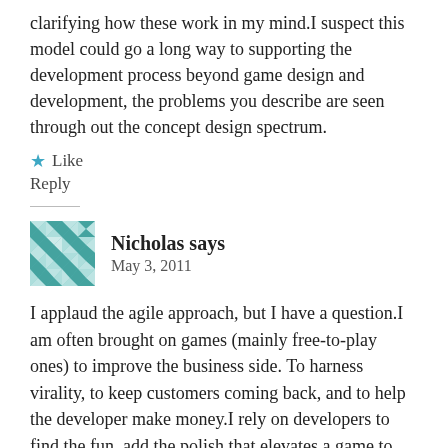clarifying how these work in my mind.I suspect this model could go a long way to supporting the development process beyond game design and development, the problems you describe are seen through out the concept design spectrum.
★ Like
Reply
Nicholas says
May 3, 2011
I applaud the agile approach, but I have a question.I am often brought on games (mainly free-to-play ones) to improve the business side. To harness virality, to keep customers coming back, and to help the developer make money.I rely on developers to find the fun, add the polish that elevates a game to classic status, and to build a solid enjoyable framework. It is expensive (and